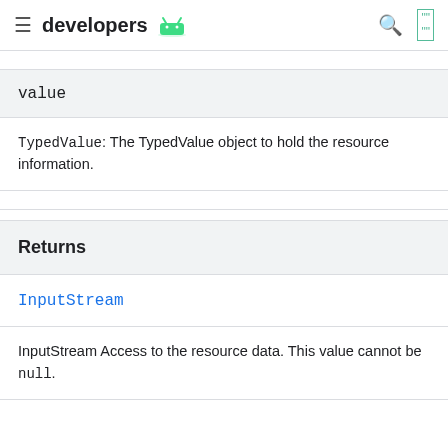developers [android logo]
value
TypedValue: The TypedValue object to hold the resource information.
Returns
InputStream
InputStream Access to the resource data. This value cannot be null.